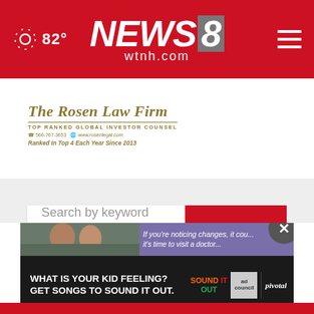82° NEWS 8 wtnh.com
[Figure (screenshot): The Rosen Law Firm advertisement banner. Top ranked global investor counsel. Phone: 566-767-3653. Website: www.rosenlegal.com. Ranked in Top 4 Each Year Since 2013.]
[Figure (screenshot): Search bar with text 'Search by keyword' and red SEARCH button]
[Figure (screenshot): Bottom popup ad: 'WHAT IS YOUR KID FEELING? GET SONGS TO SOUND IT OUT.' with Sound It Out and Ad Council/Pivotal logos. Purple banner on top with 'If you're noticing changes, it cou... it's time to visit a doctor.' Close X button.]